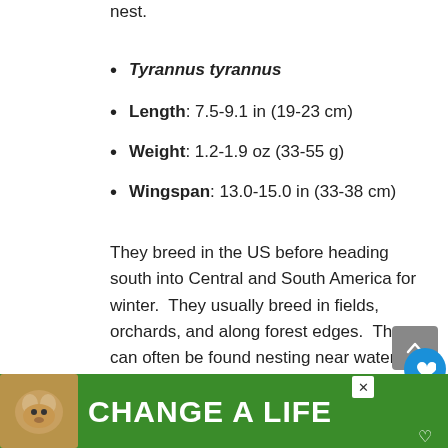nest.
Tyrannus tyrannus
Length: 7.5-9.1 in (19-23 cm)
Weight: 1.2-1.9 oz (33-55 g)
Wingspan: 13.0-15.0 in (33-38 cm)
They breed in the US before heading south into Central and South America for winter.  They usually breed in fields, orchards, and along forest edges.  They can often be found nesting near water such as rivers or lakes.
Eastern Kingbirds catch insects in midair, including bees, wasps, ants beetles, crickets, grasshoppers, bugs, and flies. They will often [continues] fly
[Figure (screenshot): Advertisement banner: green background with dog photo and text 'CHANGE A LIFE' with close button and heart icon]